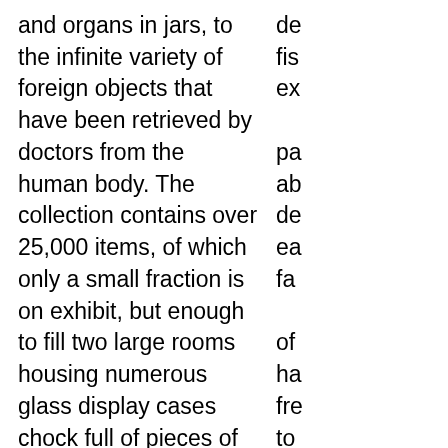and organs in jars, to the infinite variety of foreign objects that have been retrieved by doctors from the human body. The collection contains over 25,000 items, of which only a small fraction is on exhibit, but enough to fill two large rooms housing numerous glass display cases chock full of pieces of interest, plus the lobby and an upstairs side room with a current exhibit.
	The collection began with Dr. Thomas Dent Mütter in 1838 and was originally intended for the education and edification of other physicians. Since then countless physicians and scientists have contributed interesting specimens. The emphasis is on
de fi ex pa ab de ea fa of ha fre to th